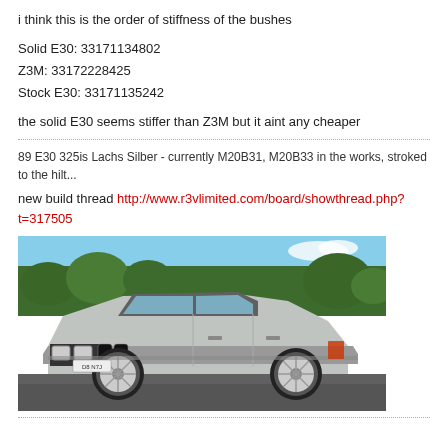i think this is the order of stiffness of the bushes
Solid E30: 33171134802
Z3M: 33172228425
Stock E30: 33171135242
the solid E30 seems stiffer than Z3M but it aint any cheaper
89 E30 325is Lachs Silber - currently M20B31, M20B33 in the works, stroked to the hilt...
new build thread http://www.r3vlimited.com/board/showthread.php?t=317505
[Figure (photo): Silver BMW E30 325is coupe parked outdoors, front three-quarter view, with trees and blue sky in background]